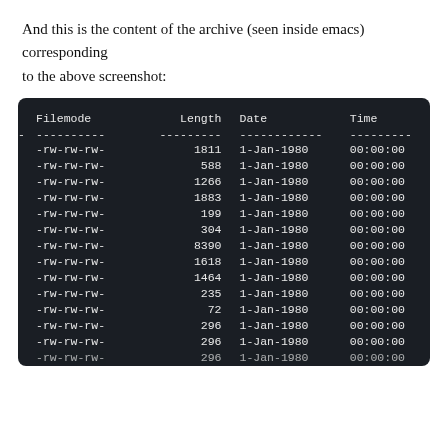And this is the content of the archive (seen inside emacs) corresponding to the above screenshot:
[Figure (screenshot): Terminal/emacs screenshot showing archive contents table with columns: Filemode, Length, Date, Time. Rows show -rw-rw-rw- permissions, various file sizes, date 1-Jan-1980, time 00:00:00 for all entries.]